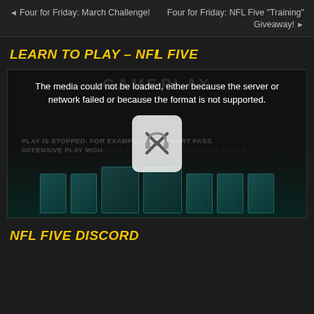◄ Four for Friday: March Challenge!  |  Four for Friday: NFL Five "Training" Giveaway! ►
LEARN TO PLAY – NFL FIVE
[Figure (screenshot): Embedded video player showing a failed media load error: 'The media could not be loaded, either because the server or network failed or because the format is not supported.' Background shows NFL Five card game gameplay with card images and a broken media play button icon overlay. Background ghost text reads GAMEPLAY and play description text.]
NFL FIVE DISCORD